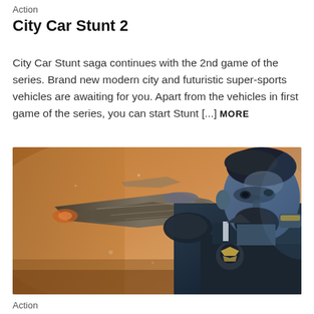Action
City Car Stunt 2
City Car Stunt saga continues with the 2nd game of the series. Brand new modern city and futuristic super-sports vehicles are awaiting for you. Apart from the vehicles in first game of the series, you can start Stunt [...] MORE
[Figure (photo): Screenshot from a video game showing a 3D-rendered bearded male character in a dark military uniform with an eagle emblem on the chest, looking to the left. In the background, a futuristic spacecraft or aircraft is visible against an orange-tinted sky.]
Action